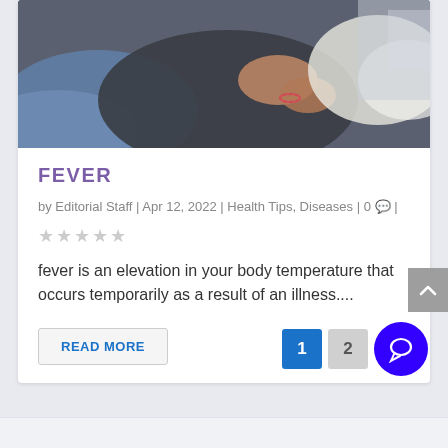[Figure (photo): Person lying in bed sick, clutching pillow, wearing a bracelet, with blue blanket visible]
FEVER
by Editorial Staff | Apr 12, 2022 | Health Tips, Diseases | 0 💬 |
fever is an elevation in your body temperature that occurs temporarily as a result of an illness....
READ MORE
1  2